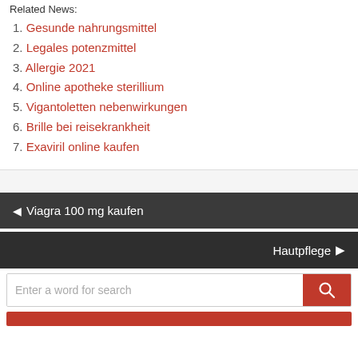Related News:
1. Gesunde nahrungsmittel
2. Legales potenzmittel
3. Allergie 2021
4. Online apotheke sterillium
5. Vigantoletten nebenwirkungen
6. Brille bei reisekrankheit
7. Exaviril online kaufen
◄ Viagra 100 mg kaufen
Hautpflege ►
Enter a word for search